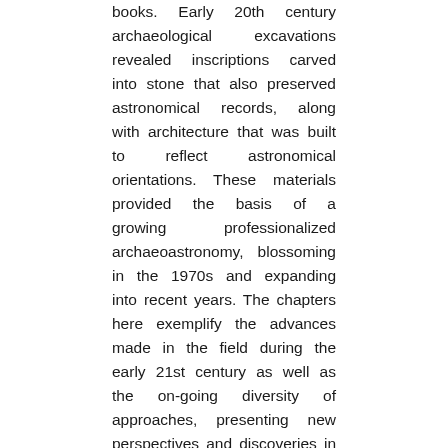books. Early 20th century archaeological excavations revealed inscriptions carved into stone that also preserved astronomical records, along with architecture that was built to reflect astronomical orientations. These materials provided the basis of a growing professionalized archaeoastronomy, blossoming in the 1970s and expanding into recent years. The chapters here exemplify the advances made in the field during the early 21st century as well as the on-going diversity of approaches, presenting new perspectives and discoveries in ancient Mayan astronomy that result from recent studies of architectural alignments, codices, epigraphy, iconography, ethnography, and calendrics. More than just investigations of esoteric ancient sciences, studies of ancient Mayan astronomy have profoundly aided our understanding of Mayan